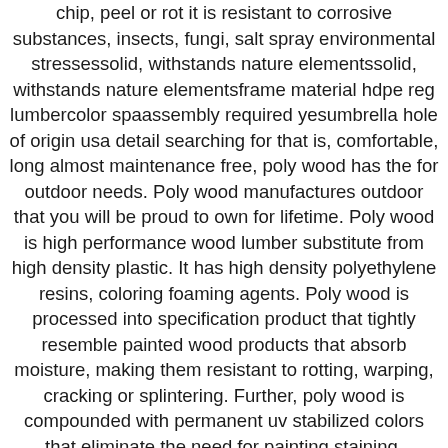chip, peel or rot it is resistant to corrosive substances, insects, fungi, salt spray environmental stressessolid, withstands nature elementssolid, withstands nature elementsframe material hdpe reg lumbercolor spaassembly required yesumbrella hole of origin usa detail searching for that is, comfortable, long almost maintenance free, poly wood has the for outdoor needs. Poly wood manufactures outdoor that you will be proud to own for lifetime. Poly wood is high performance wood lumber substitute from high density plastic. It has high density polyethylene resins, coloring foaming agents. Poly wood is processed into specification product that tightly resemble painted wood products that absorb moisture, making them resistant to rotting, warping, cracking or splintering. Further, poly wood is compounded with permanent uv stabilized colors that eliminate the need for painting staining, waterproofing, or stripping resurfacing. Poly wood products are impervious to corrosive substances with salt water as gasoline hydrocarbon oils. Manufacturers warranty year residential warranty year warranty usa processing time frame ships in working days